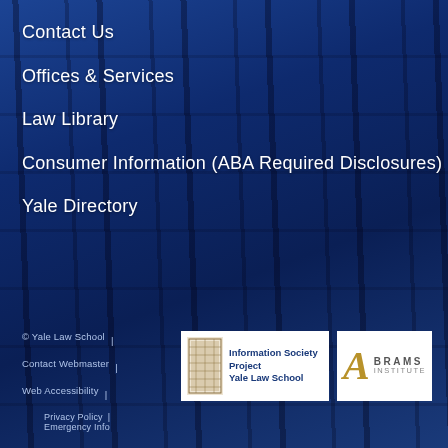Contact Us
Offices & Services
Law Library
Consumer Information (ABA Required Disclosures)
Yale Directory
© Yale Law School | Contact Webmaster | Web Accessibility | Privacy Policy | Emergency Info
[Figure (logo): Information Society Project Yale Law School logo]
[Figure (logo): Abrams Institute logo]